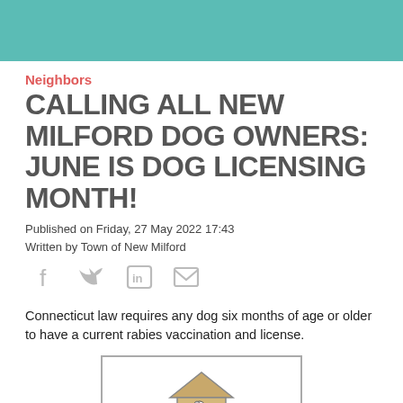Neighbors
CALLING ALL NEW MILFORD DOG OWNERS: JUNE IS DOG LICENSING MONTH!
Published on Friday, 27 May 2022 17:43
Written by Town of New Milford
[Figure (illustration): Social media sharing icons: Facebook, Twitter, LinkedIn, Email]
Connecticut law requires any dog six months of age or older to have a current rabies vaccination and license.
[Figure (illustration): Dog house with a dog inside and a food bowl, above the text DOG LICENSES in purple bold font]